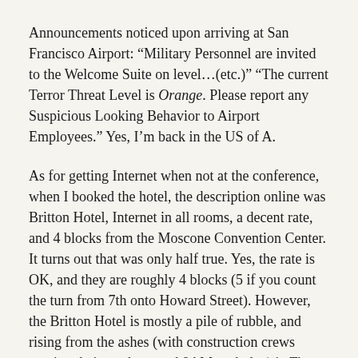Announcements noticed upon arriving at San Francisco Airport: “Military Personnel are invited to the Welcome Suite on level…(etc.)” “The current Terror Threat Level is Orange. Please report any Suspicious Looking Behavior to Airport Employees.” Yes, I’m back in the US of A.
As for getting Internet when not at the conference, when I booked the hotel, the description online was Britton Hotel, Internet in all rooms, a decent rate, and 4 blocks from the Moscone Convention Center. It turns out that was only half true. Yes, the rate is OK, and they are roughly 4 blocks (5 if you count the turn from 7th onto Howard Street). However, the Britton Hotel is mostly a pile of rubble, and rising from the ashes (with construction crews starting their work around 8AM each day) is The Good Hotel (yes, that’s the name), and Internet has been nearly non-existent. The pizza parlor that was supposed to be on the ground floor (another amenity I was looking for) is MIA. Fortunately, last night it finally kicked in around 11:00 PM.